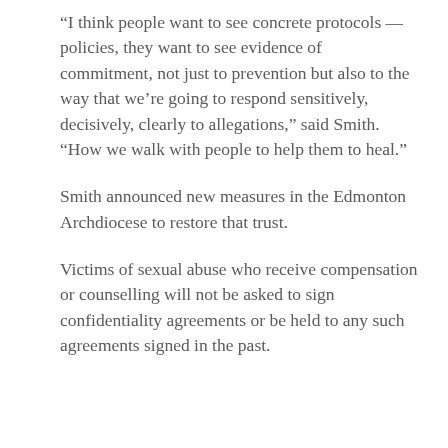“I think people want to see concrete protocols — policies, they want to see evidence of commitment, not just to prevention but also to the way that we’re going to respond sensitively, decisively, clearly to allegations,” said Smith. “How we walk with people to help them to heal.”
Smith announced new measures in the Edmonton Archdiocese to restore that trust.
Victims of sexual abuse who receive compensation or counselling will not be asked to sign confidentiality agreements or be held to any such agreements signed in the past.